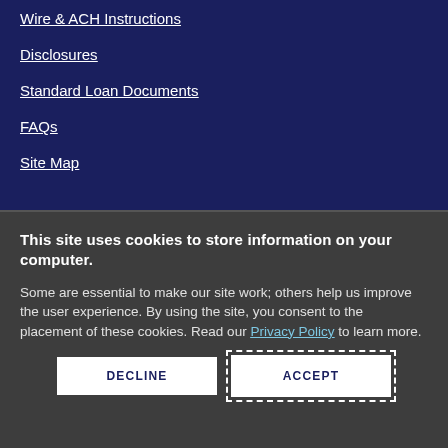Wire & ACH Instructions
Disclosures
Standard Loan Documents
FAQs
Site Map
This site uses cookies to store information on your computer.
Some are essential to make our site work; others help us improve the user experience. By using the site, you consent to the placement of these cookies. Read our Privacy Policy to learn more.